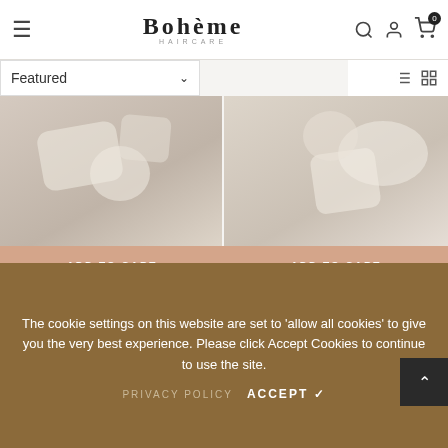Boheme Haircare — Featured, Search, Account, Cart (0)
[Figure (screenshot): Product image area showing two haircare product photos side by side — left: conditioner with soap rounds, right: shampoo with soap rounds]
ADD TO CART
ADD TO CART
Full Potential Conditioner
Full Potential Shampoo
Full Potential Conditioner leaves your hair shiny, clea...
Oily, thinning, fine, brittle hair? Full Potential Sham...
$19.28
$19.28
The cookie settings on this website are set to 'allow all cookies' to give you the very best experience. Please click Accept Cookies to continue to use the site.
PRIVACY POLICY   ACCEPT ✔